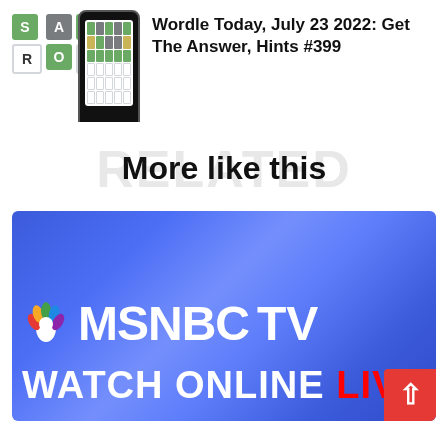[Figure (screenshot): Wordle game screenshot with colored tiles showing letters S, A, L, R, O, U on green/gray background, plus a phone mockup showing the Wordle game grid]
Wordle Today, July 23 2022: Get The Answer, Hints #399
More like this
[Figure (screenshot): MSNBC TV logo on blue gradient background with 'WATCH ONLINE LIVE' text below, and a red back-to-top button in the bottom right corner]